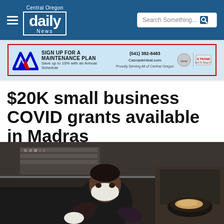Central Oregon daily News
[Figure (screenshot): Advertisement banner for Cascade Heat with logo, text 'SIGN UP FOR A MAINTENANCE PLAN Save up to 10% with an Annual Schedule', phone number (541) 382-8483, CascadeHeat.com, Trane logo]
$20K small business COVID grants available in Madras
[Figure (photo): Person wearing a white face mask working in a commercial kitchen, cooking food in a restaurant setting with kitchen equipment visible in the background]